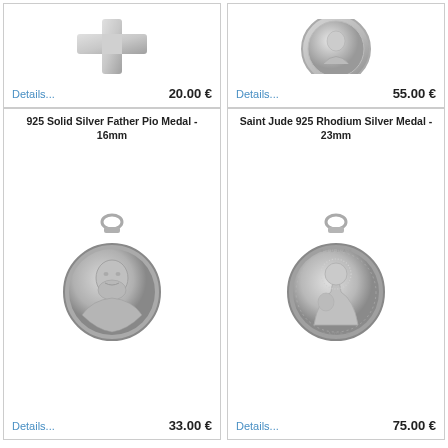[Figure (photo): Silver cross medal pendant (top portion visible, cropped)]
Details...
20.00 €
[Figure (photo): Round silver medal pendant (top portion visible, cropped)]
Details...
55.00 €
925 Solid Silver Father Pio Medal - 16mm
[Figure (photo): Round silver medal pendant of Father Pio showing a bearded man's portrait in relief, with a bail/loop at top]
Details...
33.00 €
Saint Jude 925 Rhodium Silver Medal - 23mm
[Figure (photo): Round rhodium silver medal pendant of Saint Jude showing a robed figure holding a child, with inscribed text around the border, bail/loop at top]
Details...
75.00 €